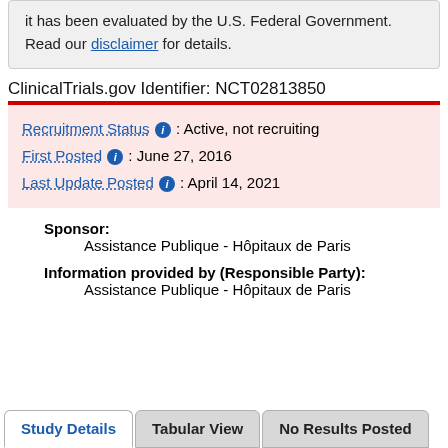it has been evaluated by the U.S. Federal Government. Read our disclaimer for details.
ClinicalTrials.gov Identifier: NCT02813850
Recruitment Status : Active, not recruiting
First Posted : June 27, 2016
Last Update Posted : April 14, 2021
Sponsor:
Assistance Publique - Hôpitaux de Paris
Information provided by (Responsible Party):
Assistance Publique - Hôpitaux de Paris
Study Details  Tabular View  No Results Posted